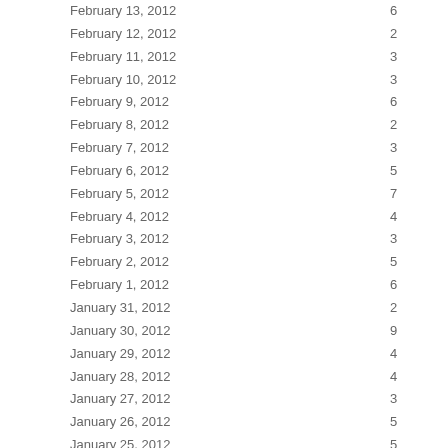| Date | Value |
| --- | --- |
| February 13, 2012 | 6 |
| February 12, 2012 | 2 |
| February 11, 2012 | 3 |
| February 10, 2012 | 3 |
| February 9, 2012 | 6 |
| February 8, 2012 | 2 |
| February 7, 2012 | 3 |
| February 6, 2012 | 5 |
| February 5, 2012 | 7 |
| February 4, 2012 | 4 |
| February 3, 2012 | 3 |
| February 2, 2012 | 5 |
| February 1, 2012 | 6 |
| January 31, 2012 | 2 |
| January 30, 2012 | 9 |
| January 29, 2012 | 4 |
| January 28, 2012 | 4 |
| January 27, 2012 | 3 |
| January 26, 2012 | 5 |
| January 25, 2012 | 5 |
| January 24, 2012 | 5 |
| January 23, 2012 | 13 |
| January 22, 2012 | 10 |